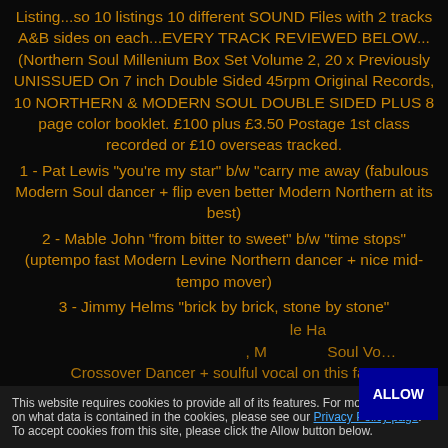Listing...so 10 listings 10 different SOUND Files with 2 tracks A&B sides on each...EVERY TRACK REVIEWED BELOW...(Northern Soul Millenium Box Set Volume 2, 20 x Previously UNISSUED On 7 inch Double Sided 45rpm Original Records, 10 NORTHERN & MODERN SOUL DOUBLE SIDED PLUS 8 page color booklet. £100 plus £3.50 Postage 1st class recorded or £10 overseas tracked.
1 - Pat Lewis "you're my star" b/w "carry me away (fabulous Modern Soul dancer + flip even better Modern Northern at its best)
2 - Mable John "from bitter to sweet" b/w "time stops" (uptempo fast Modern Levine Northern dancer + nice mid-tempo mover)
3 - Jimmy Helms "brick by brick, stone by stone"
This website requires cookies to provide all of its features. For more information on what data is contained in the cookies, please see our Privacy Policy page. To accept cookies from this site, please click the Allow button below.
Crossover Dancer + soulful vocal on this fast